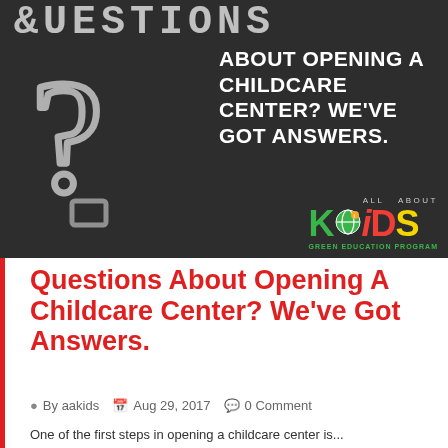[Figure (photo): Dark chalkboard background with a chalk-drawn question mark on the left and bold white uppercase text on the right reading 'ABOUT OPENING A CHILDCARE CENTER? WE'VE GOT ANSWERS.' with 'All About Kids' logo in bottom right corner.]
Questions About Opening A Childcare Center? We've Got Answers.
By aakids   Aug 29, 2017   0 Comment
One of the first steps in opening a childcare center is...